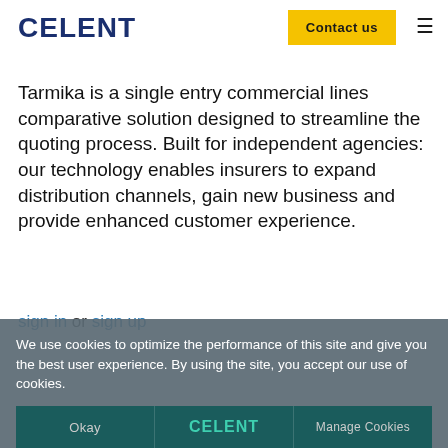CELENT
Tarmika is a single entry commercial lines comparative solution designed to streamline the quoting process. Built for independent agencies: our technology enables insurers to expand distribution channels, gain new business and provide enhanced customer experience.
sign in or sign up
We use cookies to optimize the performance of this site and give you the best user experience. By using the site, you accept our use of cookies.